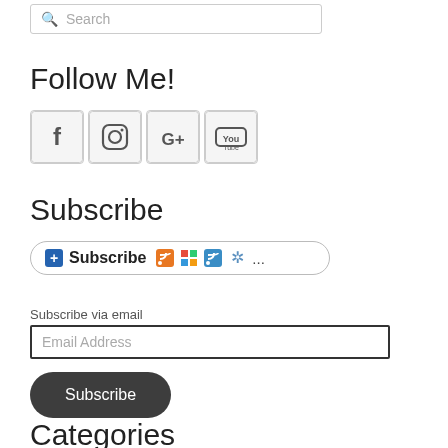Search
Follow Me!
[Figure (infographic): Social media icons: Facebook, Instagram, Google+, YouTube in square bordered boxes]
Subscribe
[Figure (infographic): Subscribe bar with plus icon, Subscribe text, RSS icon, Windows icon, feed icon, snowflake icon, and ellipsis]
Subscribe via email
Email Address
Subscribe
Categories